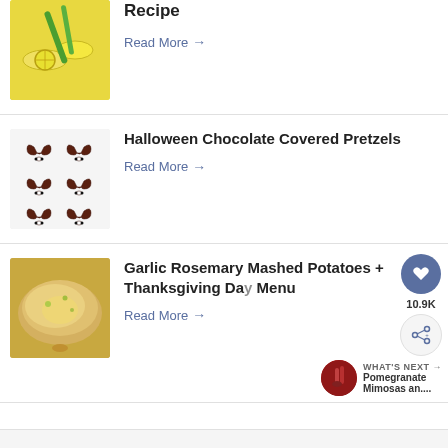[Figure (photo): Lemon drink with straws - partially visible at top]
Recipe
Read More →
[Figure (photo): Halloween chocolate covered pretzels arranged in a grid]
Halloween Chocolate Covered Pretzels
Read More →
[Figure (photo): Garlic rosemary mashed potatoes with butter]
Garlic Rosemary Mashed Potatoes + Thanksgiving Da Menu
Read More →
WHAT'S NEXT → Pomegranate Mimosas an....